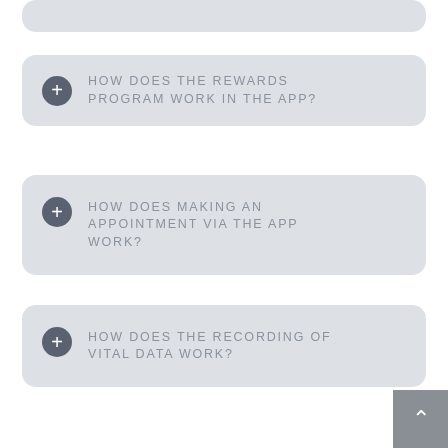HOW DOES THE REWARDS PROGRAM WORK IN THE APP?
HOW DOES MAKING AN APPOINTMENT VIA THE APP WORK?
HOW DOES THE RECORDING OF VITAL DATA WORK?